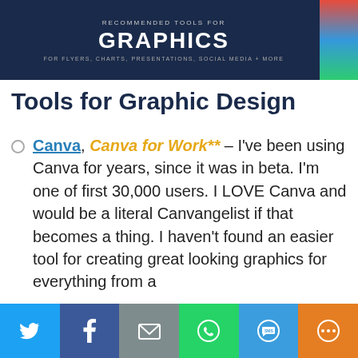[Figure (infographic): Dark navy banner with text 'RECOMMENDED TOOLS FOR GRAPHICS FOR FLYERS, CHARTS, PRESENTATIONS, SOCIAL MEDIA + MORE' with colorful strip on right side]
Tools for Graphic Design
Canva, Canva for Work** – I've been using Canva for years, since it was in beta. I'm one of first 30,000 users. I LOVE Canva and would be a literal Canvangelist if that becomes a thing. I haven't found an easier tool for creating great looking graphics for everything from a
Share bar with Twitter, Facebook, Email, WhatsApp, SMS, More icons